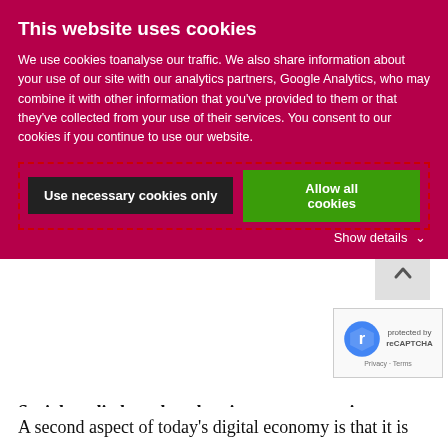This website uses cookies
We use cookies toanalyse our traffic. We also share information about your use of our site with our analytics partners, Google Analytics, who may combine it with other information that you've provided to them or that they've collected from your use of their services. You consent to our cookies if you continue to use our website.
Use necessary cookies only | Allow all cookies
Show details
Social media has played an important part in historical events in recent history. People from Egypt/Libya etc have used social media to create an unbiased awareness of the goings on in their countries. Banning social media avenues did little to stem that tide because people wanted to put an end to tyrannical dictatorships and live in a democratic society. Global reach was within their grasp only because of the Social Media Networks available to them.
A second aspect of today's digital economy is that it is